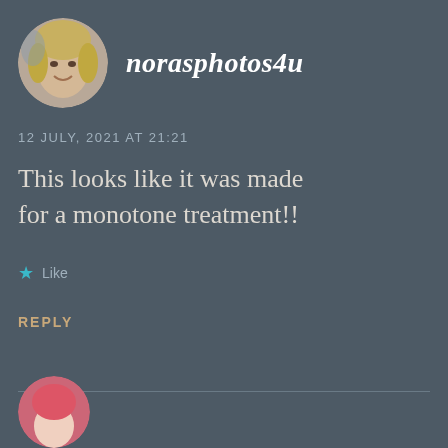[Figure (photo): Circular avatar photo of a blonde woman smiling]
norasphotos4u
12 JULY, 2021 AT 21:21
This looks like it was made for a monotone treatment!!
★ Like
REPLY
[Figure (photo): Partial circular avatar of next commenter visible at bottom]